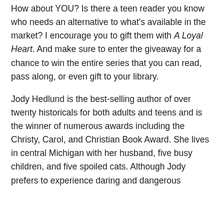How about YOU? Is there a teen reader you know who needs an alternative to what's available in the market? I encourage you to gift them with A Loyal Heart. And make sure to enter the giveaway for a chance to win the entire series that you can read, pass along, or even gift to your library.
Jody Hedlund is the best-selling author of over twenty historicals for both adults and teens and is the winner of numerous awards including the Christy, Carol, and Christian Book Award. She lives in central Michigan with her husband, five busy children, and five spoiled cats. Although Jody prefers to experience daring and dangerous